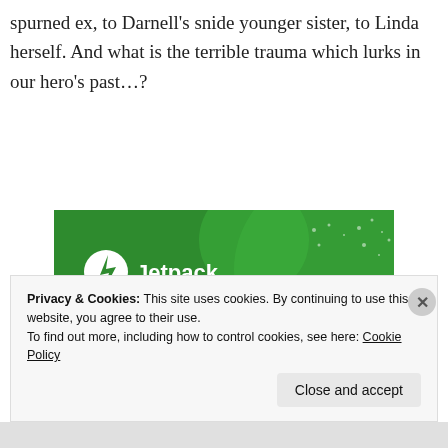spurned ex, to Darnell’s snide younger sister, to Linda herself. And what is the terrible trauma which lurks in our hero’s past…?
[Figure (screenshot): Jetpack advertisement banner with green background showing text 'The best real-time WordPress backup plugin' and a 'Back up your site' button with Jetpack logo]
Privacy & Cookies: This site uses cookies. By continuing to use this website, you agree to their use.
To find out more, including how to control cookies, see here: Cookie Policy
Close and accept